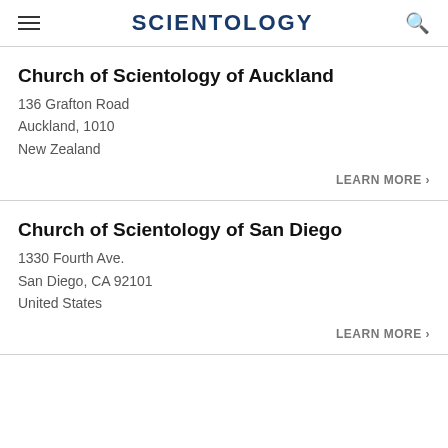SCIENTOLOGY
Church of Scientology of Auckland
136 Grafton Road
Auckland, 1010
New Zealand
LEARN MORE >
Church of Scientology of San Diego
1330 Fourth Ave.
San Diego, CA 92101
United States
LEARN MORE >